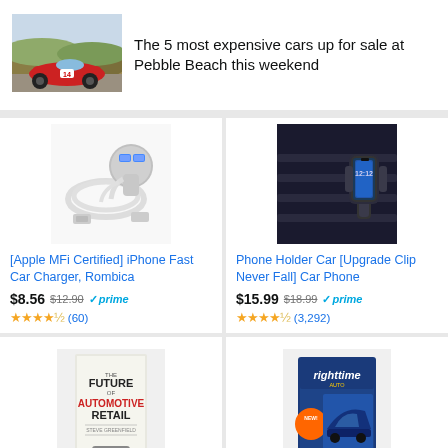[Figure (photo): Red classic racing car driving on a road with hills in background]
The 5 most expensive cars up for sale at Pebble Beach this weekend
[Figure (photo): iPhone fast car charger with cables - [Apple MFi Certified]]
[Apple MFi Certified] iPhone Fast Car Charger, Rombica
$8.56 $12.90 prime (60)
[Figure (photo): Phone holder for car mounted on vent]
Phone Holder Car [Upgrade Clip Never Fall] Car Phone
$15.99 $18.99 prime (3,292)
[Figure (photo): The Future of Automotive Retail book cover]
[Figure (photo): Righttime car product box]